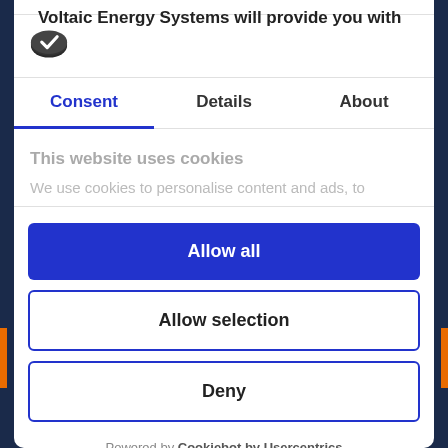Voltaic Energy Systems will provide you with
[Figure (logo): Cookiebot logo - dark oval shape with checkmark]
Consent | Details | About
This website uses cookies
We use cookies to personalise content and ads, to
Allow all
Allow selection
Deny
Powered by Cookiebot by Usercentrics